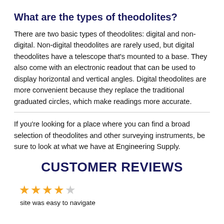What are the types of theodolites?
There are two basic types of theodolites: digital and non-digital. Non-digital theodolites are rarely used, but digital theodolites have a telescope that’s mounted to a base. They also come with an electronic readout that can be used to display horizontal and vertical angles. Digital theodolites are more convenient because they replace the traditional graduated circles, which make readings more accurate.
If you’re looking for a place where you can find a broad selection of theodolites and other surveying instruments, be sure to look at what we have at Engineering Supply.
CUSTOMER REVIEWS
[Figure (other): 4 out of 5 stars rating]
site was easy to navigate